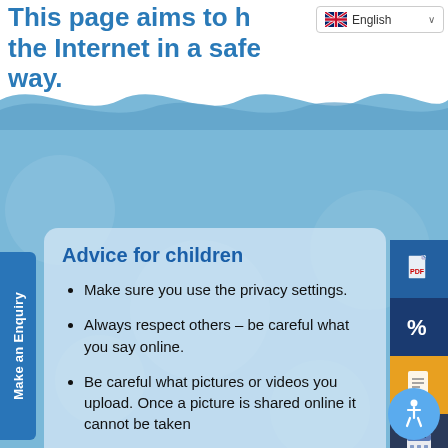This page aims to help you use the Internet in a safe way.
[Figure (screenshot): Language selector dropdown showing English with UK flag]
[Figure (illustration): Blue ocean/water wave background illustration with light blue water and wave shapes]
[Figure (illustration): Left sidebar tab with rotated text 'Make an Enquiry' in blue]
[Figure (illustration): Right sidebar with 4 icon buttons: PDF icon (blue), percent icon (dark blue), document icon (orange), calendar icon (dark navy)]
Advice for children
Make sure you use the privacy settings.
Always respect others – be careful what you say online.
Be careful what pictures or videos you upload. Once a picture is shared online it cannot be taken
[Figure (illustration): Blue accessibility icon button (wheelchair user symbol) in circular button at bottom right]